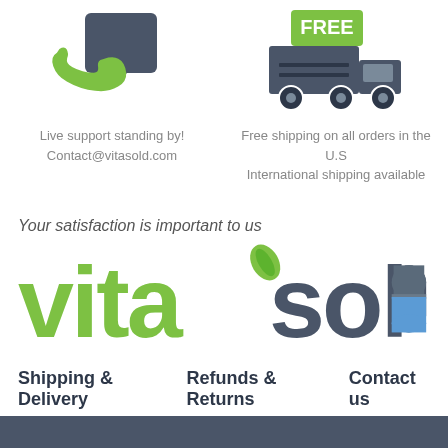[Figure (illustration): Phone and chat icon (live support) on the left; free shipping truck icon on the right]
Live support standing by!
Contact@vitasold.com
Free shipping on all orders in the U.S
International shipping available
Your satisfaction is important to us
[Figure (logo): Vitasold logo: 'vita' in green bold text with a leaf icon on the 'a', 'sold' in dark gray bold text with a pill capsule icon replacing the 'd']
Shipping & Delivery   Refunds & Returns   Contact us
[Figure (other): Dark gray footer bar at the bottom of the page]